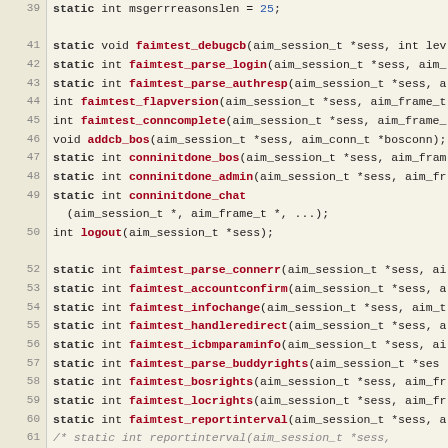[Figure (screenshot): Source code listing in C with line numbers 39-66, showing static function declarations for faimtest and related AIM session functions. Background is light tan/parchment color with dark red bold function names and black keywords.]